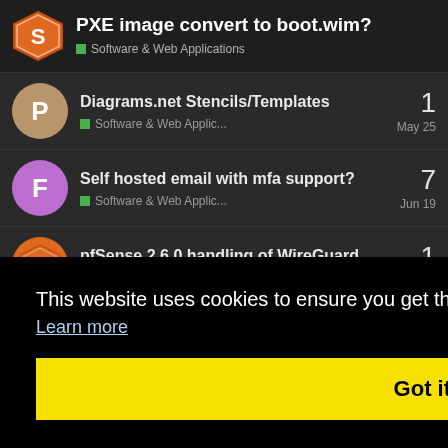PXE image convert to boot.wim? — Software & Web Applications
Diagrams.net Stencils/Templates — Software & Web Applic… — 1 — May 25
Self hosted email with mfa support? — Software & Web Applic… — 7 — Jun 19
pfSense 2.6.0 handling of WireGuard — Software & Web Applic… — 1 — Aug '21
1 — Apr 8
3 — Jul 1
This website uses cookies to ensure you get the best experience on our website. Learn more
Got it!